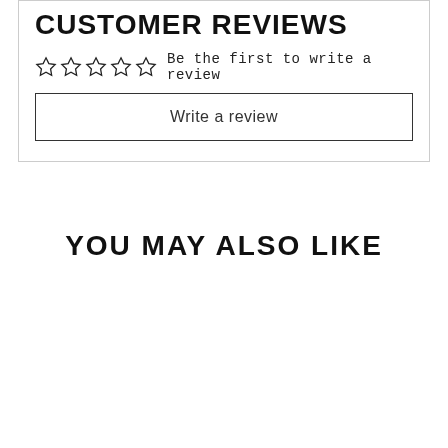CUSTOMER REVIEWS
☆☆☆☆☆  Be the first to write a review
Write a review
YOU MAY ALSO LIKE